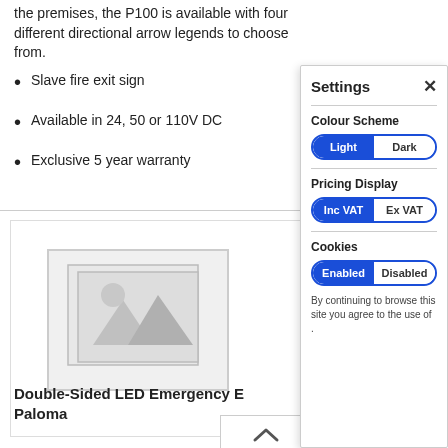the premises, the P100 is available with four different directional arrow legends to choose from.
Slave fire exit sign
Available in 24, 50 or 110V DC
Exclusive 5 year warranty
[Figure (photo): Product image placeholder with mountain/landscape icon]
Fre
Double-Sided LED Emergency E... Paloma
[Figure (screenshot): Settings panel overlay with Colour Scheme (Light/Dark), Pricing Display (Inc VAT/Ex VAT), Cookies (Enabled/Disabled) toggles and a note about cookies consent.]